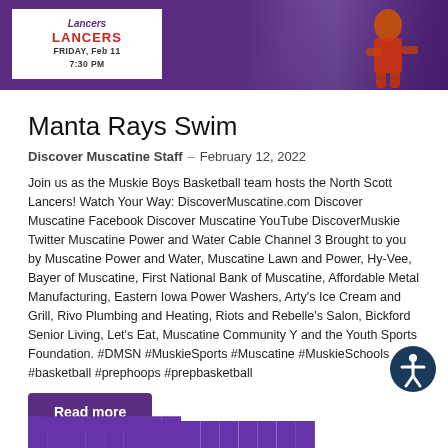[Figure (photo): Banner image for Lancers basketball event. White box on purple background showing Lancers logo, Friday Feb 11, 7:30 PM. Basketball player visible on right side.]
Manta Rays Swim
Discover Muscatine Staff – February 12, 2022
Join us as the Muskie Boys Basketball team hosts the North Scott Lancers! Watch Your Way: DiscoverMuscatine.com Discover Muscatine Facebook Discover Muscatine YouTube DiscoverMuskie Twitter Muscatine Power and Water Cable Channel 3 Brought to you by Muscatine Power and Water, Muscatine Lawn and Power, Hy-Vee, Bayer of Muscatine, First National Bank of Muscatine, Affordable Metal Manufacturing, Eastern Iowa Power Washers, Arty's Ice Cream and Grill, Rivo Plumbing and Heating, Riots and Rebelle's Salon, Bickford Senior Living, Let's Eat, Muscatine Community Y and the Youth Sports Foundation. #DMSN #MuskieSports #Muscatine #MuskieSchools #basketball #prephoops #prepbasketball
Read more